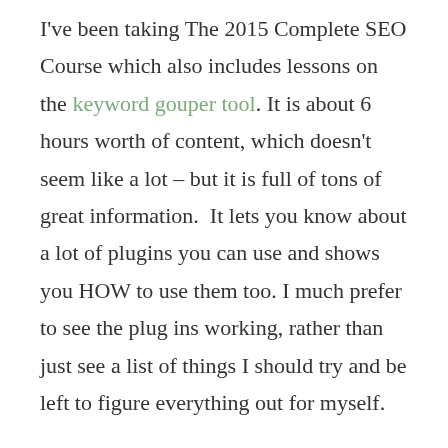I've been taking The 2015 Complete SEO Course which also includes lessons on the keyword gouper tool. It is about 6 hours worth of content, which doesn't seem like a lot – but it is full of tons of great information.  It lets you know about a lot of plugins you can use and shows you HOW to use them too. I much prefer to see the plug ins working, rather than just see a list of things I should try and be left to figure everything out for myself.
There are also a lot of great websites to visit – I got a performance report on my website and got a C! My pages are slow to load, among other problems.  An hour in to the course and